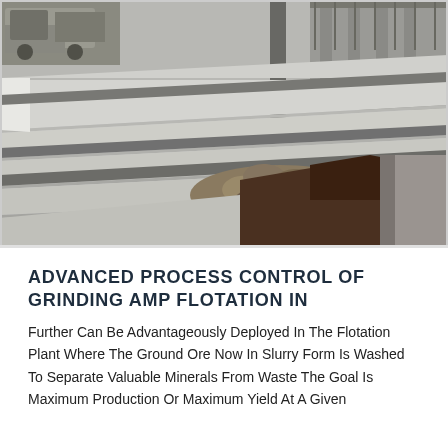[Figure (photo): Industrial mining facility showing a stepped concrete ore crushing/processing structure with rocks/ore falling into a pit. A dump truck is visible in the upper left background, and industrial buildings/structures are visible in the upper right. The steps are wide concrete terraces in light grey tones.]
ADVANCED PROCESS CONTROL OF GRINDING AMP FLOTATION IN
Further Can Be Advantageously Deployed In The Flotation Plant Where The Ground Ore Now In Slurry Form Is Washed To Separate Valuable Minerals From Waste The Goal Is Maximum Production Or Maximum Yield At A Given